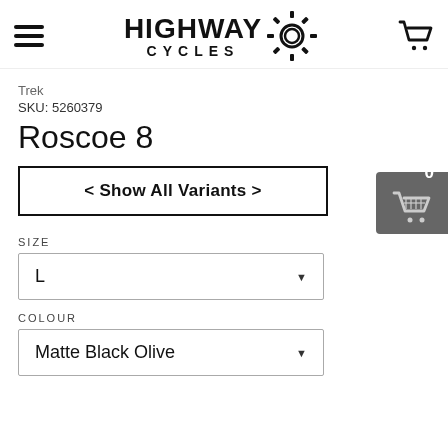[Figure (logo): Highway Cycles logo with gear icon and hamburger menu and cart icon in header]
Trek
SKU: 5260379
Roscoe 8
< Show All Variants >
SIZE
L
COLOUR
Matte Black Olive